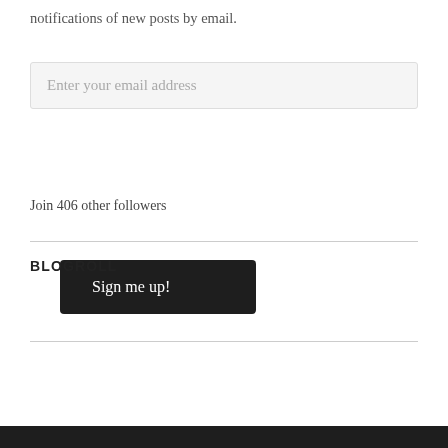notifications of new posts by email.
Enter your email address
Sign me up!
Join 406 other followers
BLOGROLL
WordPress.com
WordPress.org